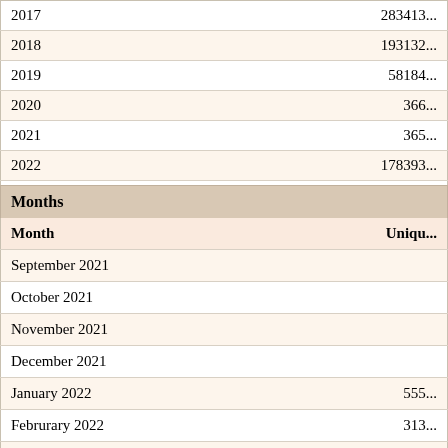| Year | Unique |
| --- | --- |
| 2017 | 283413... |
| 2018 | 193132... |
| 2019 | 58184... |
| 2020 | 366... |
| 2021 | 365... |
| 2022 | 178393... |
|  |  |
Months
| Month | Uniqu... |
| --- | --- |
| September 2021 |  |
| October 2021 |  |
| November 2021 |  |
| December 2021 |  |
| January 2022 | 555... |
| Februrary 2022 | 313... |
| March 2022 | 305... |
| April 2022 | 204... |
| May 2022 | 261... |
| June 2022 | 225... |
| July 2022 | 183... |